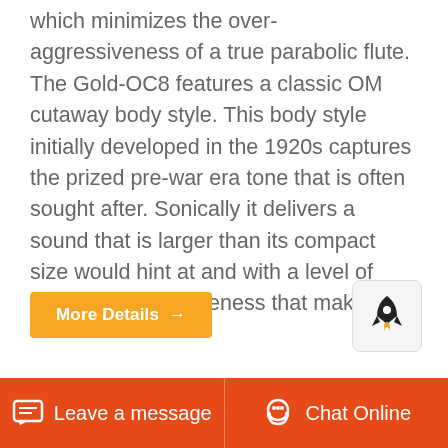which minimizes the over- aggressiveness of a true parabolic flute. The Gold-OC8 features a classic OM cutaway body style. This body style initially developed in the 1920s captures the prized pre-war era tone that is often sought after. Sonically it delivers a sound that is larger than its compact size would hint at and with a level of dynamic responsiveness that makes it
More Details →
[Figure (screenshot): Rocket launch icon button in a light grey rounded rectangle]
[Figure (screenshot): Product card area showing Pebble label with blue circle logo and Granite text with product images partially visible]
Leave a message
Chat Online